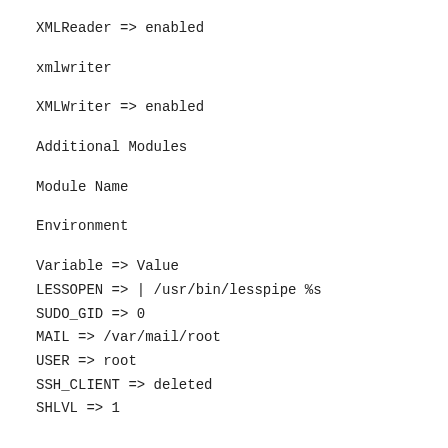XMLReader => enabled
xmlwriter
XMLWriter => enabled
Additional Modules
Module Name
Environment
| Variable | Value |
| --- | --- |
| LESSOPEN | | /usr/bin/lesspipe %s |
| SUDO_GID | 0 |
| MAIL | /var/mail/root |
| USER | root |
| SSH_CLIENT | deleted |
| SHLVL | 1 |